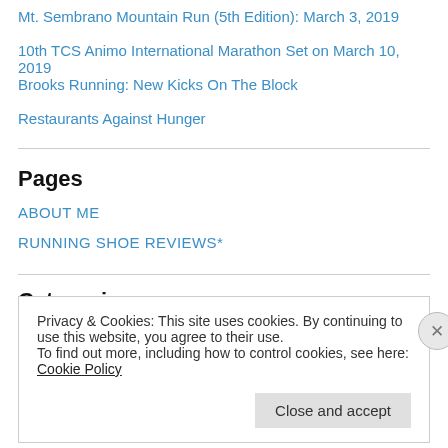Mt. Sembrano Mountain Run (5th Edition): March 3, 2019
10th TCS Animo International Marathon Set on March 10, 2019
Brooks Running: New Kicks On The Block
Restaurants Against Hunger
Pages
ABOUT ME
RUNNING SHOE REVIEWS*
Categories
Privacy & Cookies: This site uses cookies. By continuing to use this website, you agree to their use.
To find out more, including how to control cookies, see here: Cookie Policy
Close and accept